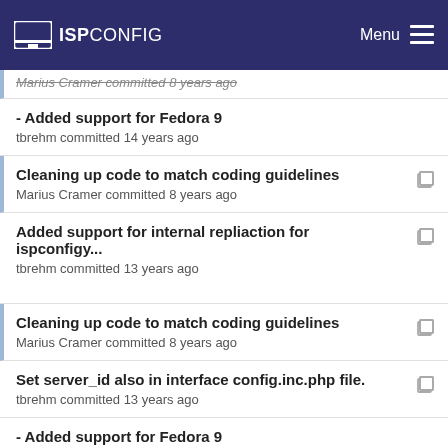ISPConfig — Menu
Marius Cramer committed 8 years ago
- Added support for Fedora 9
tbrehm committed 14 years ago
Cleaning up code to match coding guidelines
Marius Cramer committed 8 years ago
Added support for internal repliaction for ispconfigy...
tbrehm committed 13 years ago
Cleaning up code to match coding guidelines
Marius Cramer committed 8 years ago
Set server_id also in interface config.inc.php file.
tbrehm committed 13 years ago
- Added support for Fedora 9
tbrehm committed 14 years ago
Fixed: FS#702 - language setting in config.inc.php...